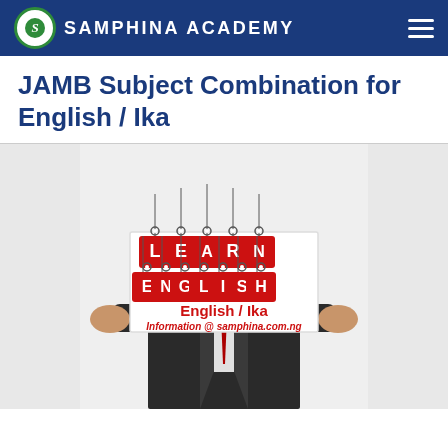SAMPHINA ACADEMY
JAMB Subject Combination for English / Ika
[Figure (illustration): A person in a business suit holding up a white sign board that reads 'LEARN ENGLISH' with red hanging letter tags, 'English / Ika' in bold red text, and 'Information @ samphina.com.ng' in red italic text below.]